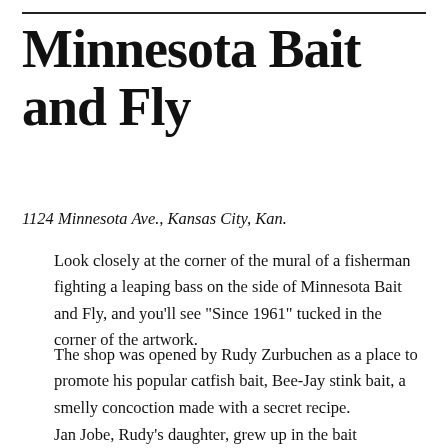Minnesota Bait and Fly
1124 Minnesota Ave., Kansas City, Kan.
Look closely at the corner of the mural of a fisherman fighting a leaping bass on the side of Minnesota Bait and Fly, and you’ll see “Since 1961” tucked in the corner of the artwork.
The shop was opened by Rudy Zurbuchen as a place to promote his popular catfish bait, Bee-Jay stink bait, a smelly concoction made with a secret recipe.
Jan Jobe, Rudy’s daughter, grew up in the bait